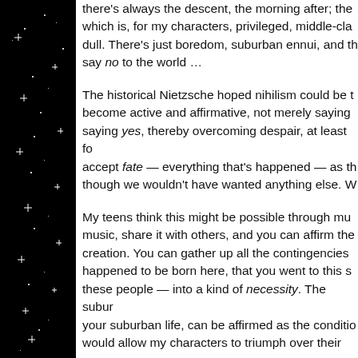[Figure (illustration): Black starfield sidebar on the left side of the page with white star/cross shapes scattered throughout]
there's always the descent, the morning after; the which is, for my characters, privileged, middle-cla dull. There's just boredom, suburban ennui, and th say no to the world …
The historical Nietzsche hoped nihilism could be t become active and affirmative, not merely saying saying yes, thereby overcoming despair, at least fo accept fate — everything that's happened — as th though we wouldn't have wanted anything else. W
My teens think this might be possible through mu music, share it with others, and you can affirm the creation. You can gather up all the contingencies happened to be born here, that you went to this s these people — into a kind of necessity. The subur your suburban life, can be affirmed as the conditio would allow my characters to triumph over their